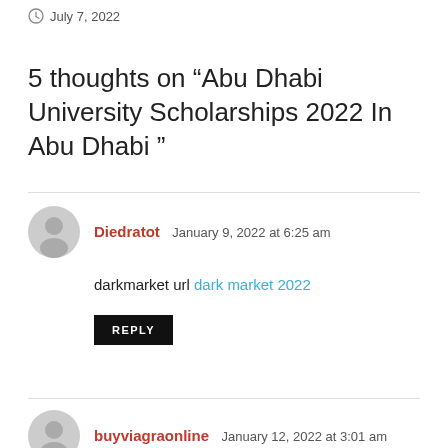July 7, 2022
5 thoughts on “Abu Dhabi University Scholarships 2022 In Abu Dhabi ”
Diedratot  January 9, 2022 at 6:25 am
darkmarket url dark market 2022
REPLY
buyviagraonline  January 12, 2022 at 3:01 am